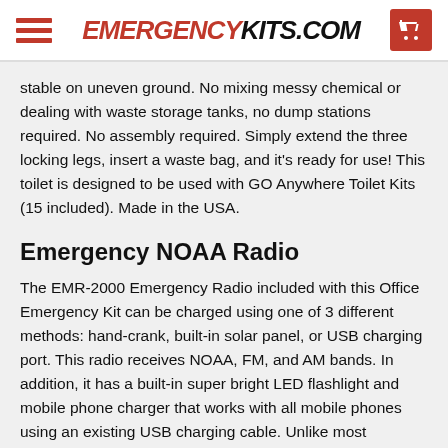EMERGENCYKITS.COM
stable on uneven ground. No mixing messy chemical or dealing with waste storage tanks, no dump stations required. No assembly required. Simply extend the three locking legs, insert a waste bag, and it's ready for use! This toilet is designed to be used with GO Anywhere Toilet Kits (15 included). Made in the USA.
Emergency NOAA Radio
The EMR-2000 Emergency Radio included with this Office Emergency Kit can be charged using one of 3 different methods: hand-crank, built-in solar panel, or USB charging port. This radio receives NOAA, FM, and AM bands. In addition, it has a built-in super bright LED flashlight and mobile phone charger that works with all mobile phones using an existing USB charging cable. Unlike most Emergency radios, the EMR-2000 has a built-in 2,000